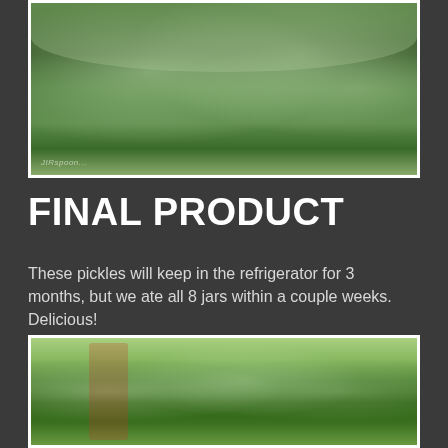[Figure (photo): Photo of mason jars filled with cucumber pickles and green leaves, viewed from above, set on a red background]
FINAL PRODUCT
These pickles will keep in the refrigerator for 3 months, but we ate all 8 jars within a couple weeks.  Delicious!
[Figure (photo): Photo of multiple mason jars filled with whole cucumber pickles in brine, viewed from the side]